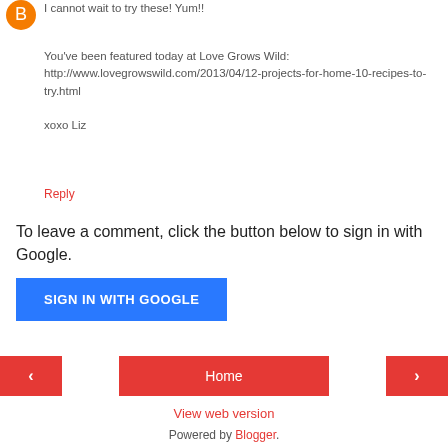[Figure (logo): Orange circle Blogger avatar icon]
I cannot wait to try these! Yum!!
You've been featured today at Love Grows Wild: http://www.lovegrowswild.com/2013/04/12-projects-for-home-10-recipes-to-try.html

xoxo Liz
Reply
To leave a comment, click the button below to sign in with Google.
SIGN IN WITH GOOGLE
‹
Home
›
View web version
Powered by Blogger.